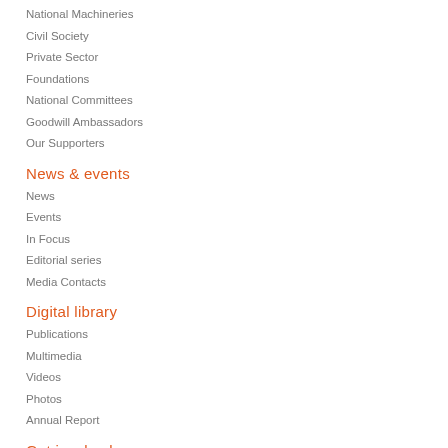National Machineries
Civil Society
Private Sector
Foundations
National Committees
Goodwill Ambassadors
Our Supporters
News & events
News
Events
In Focus
Editorial series
Media Contacts
Digital library
Publications
Multimedia
Videos
Photos
Annual Report
Get involved
30 for 2030